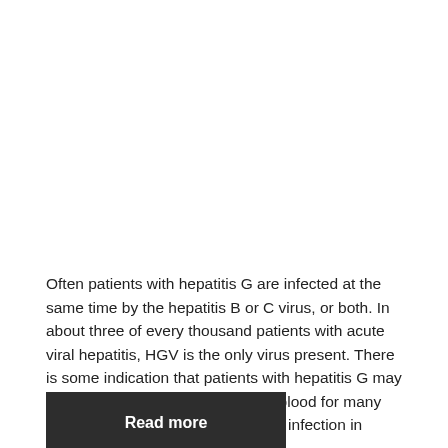Often patients with hepatitis G are infected at the same time by the hepatitis B or C virus, or both. In about three of every thousand patients with acute viral hepatitis, HGV is the only virus present. There is some indication that patients with hepatitis G may continue to carry the virus in their blood for many years, and so might be a source of infection in others.
Read more